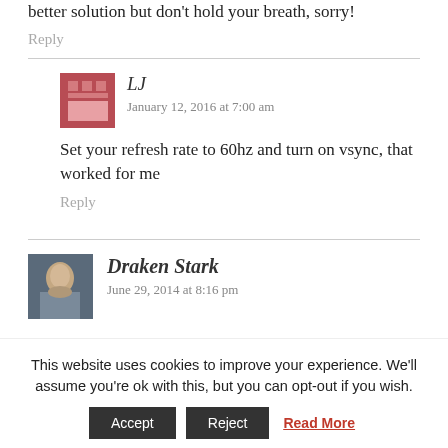better solution but don't hold your breath, sorry!
Reply
LJ
January 12, 2016 at 7:00 am
Set your refresh rate to 60hz and turn on vsync, that worked for me
Reply
Draken Stark
June 29, 2014 at 8:16 pm
This website uses cookies to improve your experience. We'll assume you're ok with this, but you can opt-out if you wish.